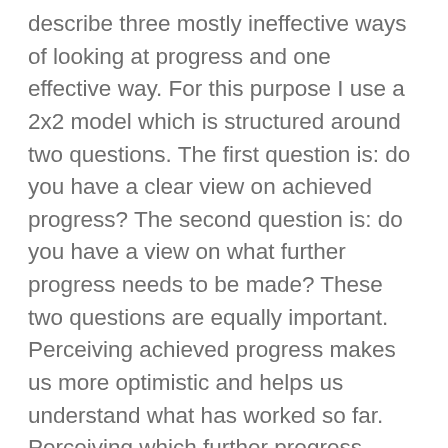describe three mostly ineffective ways of looking at progress and one effective way. For this purpose I use a 2x2 model which is structured around two questions. The first question is: do you have a clear view on achieved progress? The second question is: do you have a view on what further progress needs to be made? These two questions are equally important. Perceiving achieved progress makes us more optimistic and helps us understand what has worked so far. Perceiving which further progress needs to be made gives us a perspective and something which we can usefully focus our energy on.